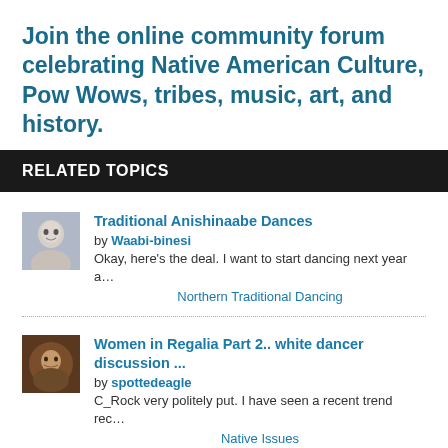Join the online community forum celebrating Native American Culture, Pow Wows, tribes, music, art, and history.
RELATED TOPICS
Traditional Anishinaabe Dances by Waabi-binesi
Okay, here's the deal. I want to start dancing next year a…
Northern Traditional Dancing
Women in Regalia Part 2.. white dancer discussion … by spottedeagle
C_Rock very politely put. I have seen a recent trend rec…
Native Issues